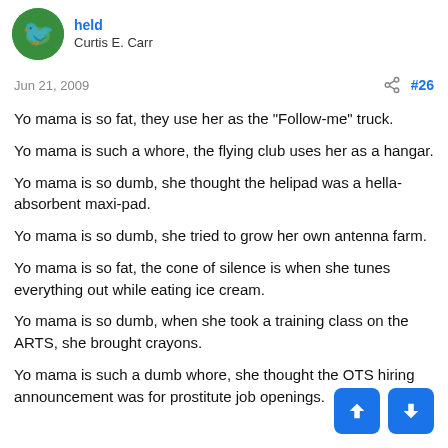held / Curtis E. Carr
Jun 21, 2009  #26
Yo mama is so fat, they use her as the "Follow-me" truck.
Yo mama is such a whore, the flying club uses her as a hangar.
Yo mama is so dumb, she thought the helipad was a hella-absorbent maxi-pad.
Yo mama is so dumb, she tried to grow her own antenna farm.
Yo mama is so fat, the cone of silence is when she tunes everything out while eating ice cream.
Yo mama is so dumb, when she took a training class on the ARTS, she brought crayons.
Yo mama is such a dumb whore, she thought the OTS hiring announcement was for prostitute job openings.